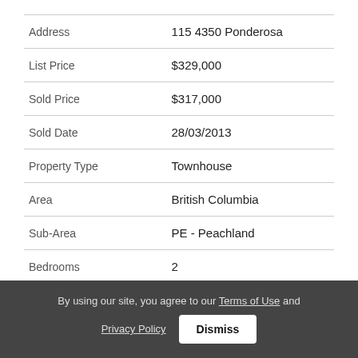| Field | Value |
| --- | --- |
| Address | 115 4350 Ponderosa |
| List Price | $329,000 |
| Sold Price | $317,000 |
| Sold Date | 28/03/2013 |
| Property Type | Townhouse |
| Area | British Columbia |
| Sub-Area | PE - Peachland |
| Bedrooms | 2 |
| Bathrooms | 2 |
By using our site, you agree to our Terms of Use and Privacy Policy Dismiss